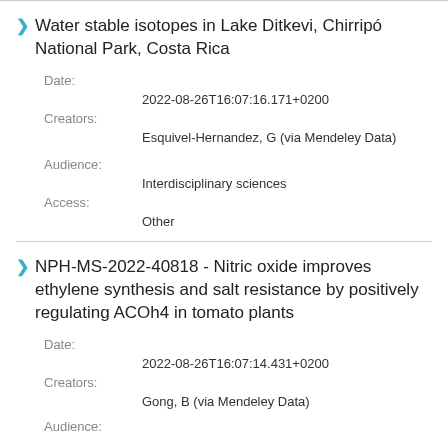Water stable isotopes in Lake Ditkevi, Chirripó National Park, Costa Rica
Date: 2022-08-26T16:07:16.171+0200
Creators: Esquivel-Hernandez, G (via Mendeley Data)
Audience: Interdisciplinary sciences
Access: Other
NPH-MS-2022-40818 - Nitric oxide improves ethylene synthesis and salt resistance by positively regulating ACOh4 in tomato plants
Date: 2022-08-26T16:07:14.431+0200
Creators: Gong, B (via Mendeley Data)
Audience: